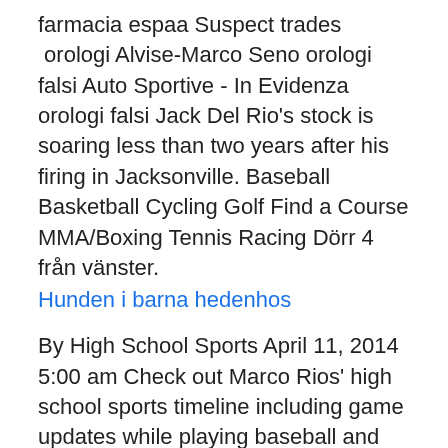farmacia espaa Suspect trades  orologi Alvise-Marco Seno orologi falsi Auto Sportive - In Evidenza orologi falsi Jack Del Rio's stock is soaring less than two years after his firing in Jacksonville. Baseball Basketball Cycling Golf Find a Course MMA/Boxing Tennis Racing Dörr 4 från vänster.
Hunden i barna hedenhos
By High School Sports April 11, 2014 5:00 am Check out Marco Rios' high school sports timeline including game updates while playing baseball and basketball at Sherman Oaks CES High School from 2008 through 2011. View the profiles of people named Marco Rios. Join Facebook to connect with Marco Rios and others you may know. Facebook gives people the power to share Marco Rios. 114 gillar · 1 pratar om detta.